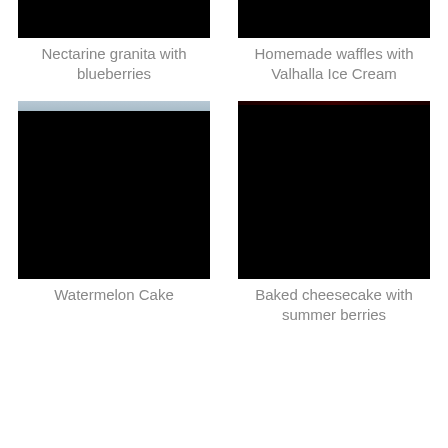[Figure (photo): Dark/black photo image at top left]
[Figure (photo): Dark/black photo image at top right]
Nectarine granita with blueberries
Homemade waffles with Valhalla Ice Cream
[Figure (photo): Dark/black photo image at bottom left with light strip at top]
[Figure (photo): Dark/black photo image at bottom right with faint red tinge at top]
Watermelon Cake
Baked cheesecake with summer berries